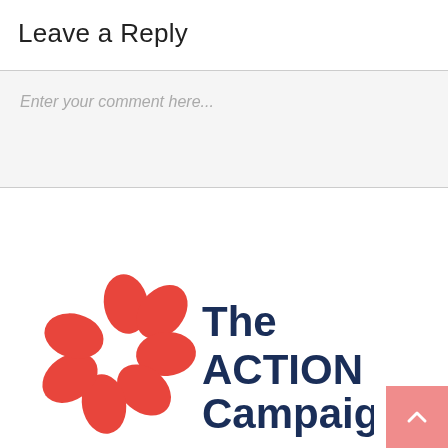Leave a Reply
Enter your comment here...
[Figure (logo): The ACTION Campaign logo with red geometric flower/pinwheel shape on the left and dark navy blue bold text 'The ACTION Campaign' on the right]